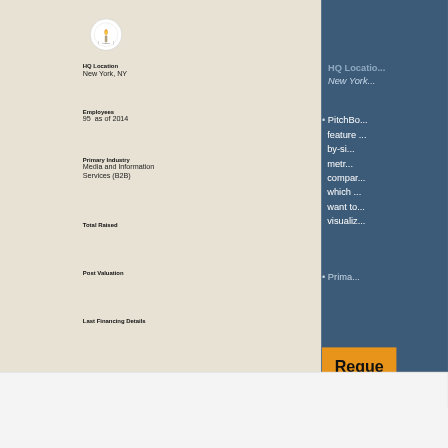[Figure (logo): Circular logo with torch/flame icon and text 'formula' inside a white circle with grey border]
HQ Location
New York, NY
Employees
95  as of 2014
Primary Industry
Media and Information Services (B2B)
Total Raised
Post Valuation
Last Financing Details
PitchBo... feature ... by-si... metr... compar... which ... want to... visualiz...
Accept and Close ✕
Your browser settings do not allow cross-site tracking for advertising. Click on this page to allow AdRoll to use cross-site tracking to tailor ads to you. Learn more or opt out of this AdRoll tracking by clicking here. This message only appears once.
Reque...
Cookie Consent